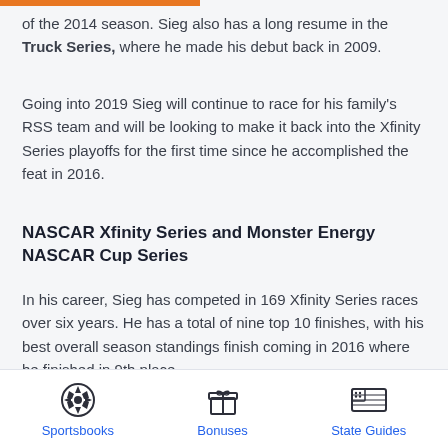of the 2014 season. Sieg also has a long resume in the Truck Series, where he made his debut back in 2009.
Going into 2019 Sieg will continue to race for his family's RSS team and will be looking to make it back into the Xfinity Series playoffs for the first time since he accomplished the feat in 2016.
NASCAR Xfinity Series and Monster Energy NASCAR Cup Series
In his career, Sieg has competed in 169 Xfinity Series races over six years. He has a total of nine top 10 finishes, with his best overall season standings finish coming in 2016 where he finished in 9th place.
Sportsbooks | Bonuses | State Guides